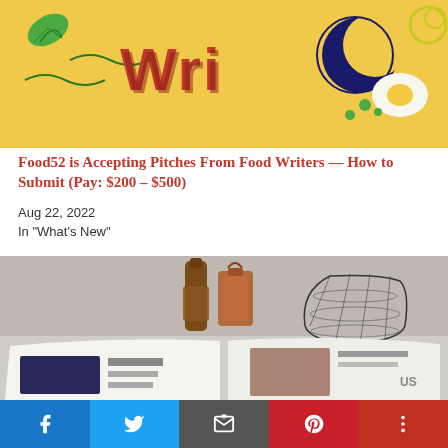[Figure (illustration): Colorful illustrated banner with yellow background, 3D red text, green leaf, moon shapes, and a fried egg icon — food writing themed artwork]
Food52 is Accepting Pitches From Food Writers — How to Submit (Pay: $200 – $500)
Aug 22, 2022
In "What's New"
[Figure (photo): Photo of an open magazine on a table with a brown glass bottle, copper lantern, and wire basket in the background — lifestyle/editorial photography]
[Figure (infographic): Social media sharing bar with Facebook, Twitter, Email, Pinterest, and More buttons]